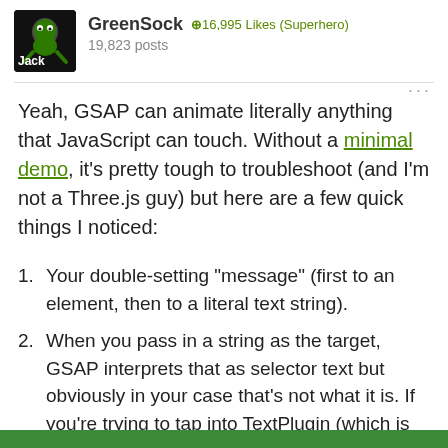GreenSock  +16,995 Likes (Superhero)  19,823 posts
Yeah, GSAP can animate literally anything that JavaScript can touch. Without a minimal demo, it's pretty tough to troubleshoot (and I'm not a Three.js guy) but here are a few quick things I noticed:
Your double-setting "message" (first to an element, then to a literal text string).
When you pass in a string as the target, GSAP interprets that as selector text but obviously in your case that's not what it is. If you're trying to tap into TextPlugin (which is for DOM elements), you could just use a proxy with an onUpdate to apply it: